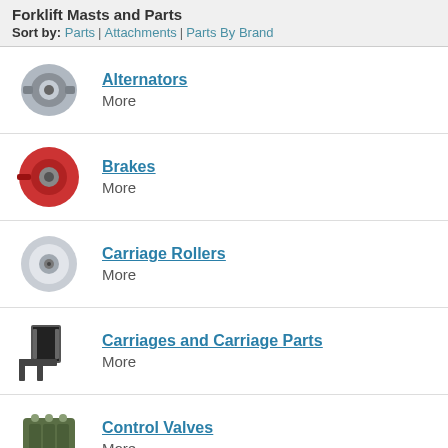Forklift Masts and Parts
Sort by: Parts | Attachments | Parts By Brand
Alternators
More
Brakes
More
Carriage Rollers
More
Carriages and Carriage Parts
More
Control Valves
More
Controllers
More
Differentials